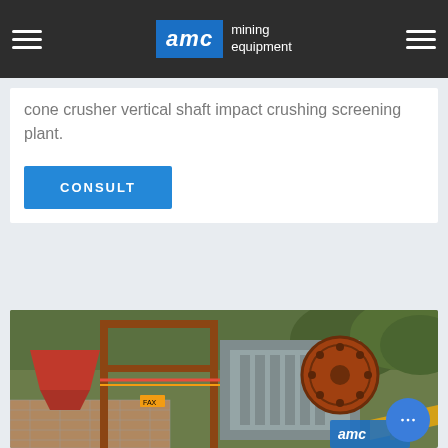AMC mining equipment
cone crusher vertical shaft impact crushing screening plant.
CONSULT
[Figure (photo): Industrial mining jaw crusher equipment mounted on a steel frame structure, with large flywheel visible, set in an outdoor quarry environment with brick/concrete base. AMC branding visible at bottom right.]